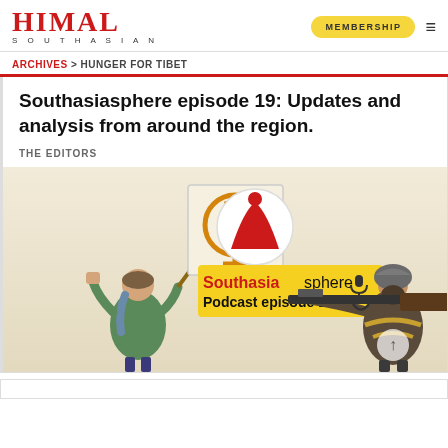HIMAL SOUTHASIAN — MEMBERSHIP
ARCHIVES > HUNGER FOR TIBET
Southasiasphere episode 19: Updates and analysis from around the region.
THE EDITORS
[Figure (illustration): Southasiasphere Podcast episode 19 illustration showing a woman holding a feminist sign and a militant figure with a rifle, with the Southasiasphere logo circle and text 'Southasiasphere Podcast episode 19' on a yellow banner.]